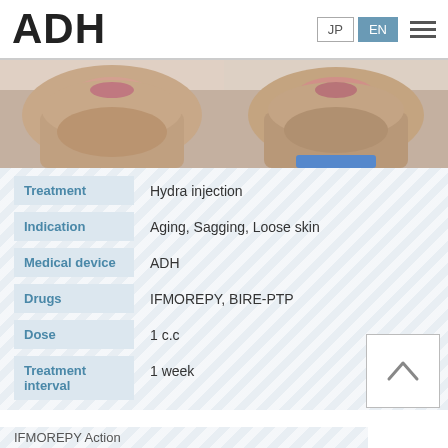ADH | JP | EN
[Figure (photo): Before photo: close-up of lower face/chin area, frontal view]
[Figure (photo): After photo: close-up of lower face/chin area, frontal view, wearing blue top]
| Field | Value |
| --- | --- |
| Treatment | Hydra injection |
| Indication | Aging, Sagging, Loose skin |
| Medical device | ADH |
| Drugs | IFMOREPY, BIRE-PTP |
| Dose | 1 c.c |
| Treatment interval | 1 week |
IFMOREPY Action